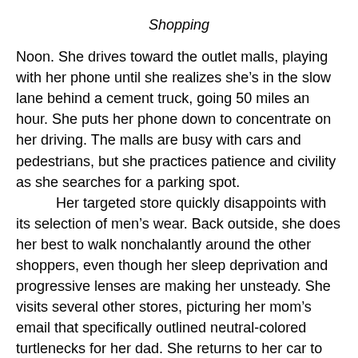Shopping
Noon. She drives toward the outlet malls, playing with her phone until she realizes she’s in the slow lane behind a cement truck, going 50 miles an hour. She puts her phone down to concentrate on her driving. The malls are busy with cars and pedestrians, but she practices patience and civility as she searches for a parking spot.
	Her targeted store quickly disappoints with its selection of men’s wear. Back outside, she does her best to walk nonchalantly around the other shoppers, even though her sleep deprivation and progressive lenses are making her unsteady. She visits several other stores, picturing her mom’s email that specifically outlined neutral-colored turtlenecks for her dad. She returns to her car to move to the next mall and repeats the same fruitless search. She ducks into a women’s boutique and peruses the clothing and cheap knick knacks, and winds up buying herself a shirt that says “FEELINGS.”
	Although limp and uninspired, she moves her car two more times around the malls and finally settles on a sweater and socks for her dad. Back at her car, she sits for a moment